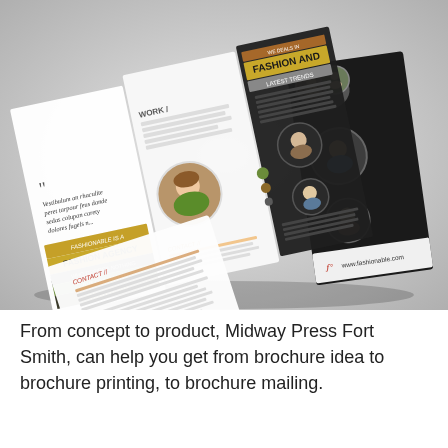[Figure (photo): 3D mockup of a trifold fashion brochure showing both the front cover (dark background with circular photos of women and www.fashionable.com URL) and the inside spread (white panels with text, circular portrait photo, italic quote, and fashion agency headline). The brochure is displayed at an angle on a white/grey gradient background.]
From concept to product, Midway Press Fort Smith, can help you get from brochure idea to brochure printing, to brochure mailing.